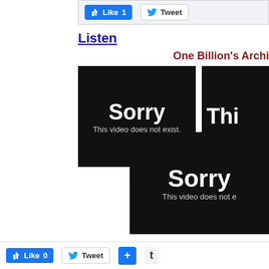[Figure (screenshot): Facebook Like button showing count 1 and Twitter Tweet button in a social sharing bar]
Listen
One Billion’s Archi…
[Figure (screenshot): Video player placeholder showing 'Sorry This video does not exist.' on black background]
[Figure (screenshot): Partial video player placeholder on right side showing same sorry message, clipped]
[Figure (screenshot): Second video player placeholder partially visible at bottom showing 'Sorry This video does not e...' on black background]
[Figure (screenshot): Bottom social bar with Facebook Like 0, Twitter Tweet, plus button, and t button]